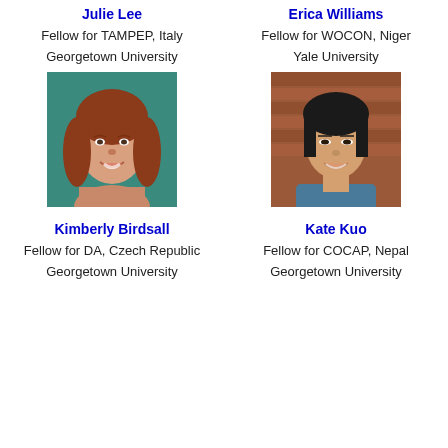Julie Lee
Erica Williams
Fellow for TAMPEP, Italy
Fellow for WOCON, Niger
Georgetown University
Yale University
[Figure (photo): Headshot of Julie Lee, woman with reddish-brown hair, smiling, against teal background]
[Figure (photo): Headshot of Erica Williams, woman with black hair, smiling, against brick wall background]
Kimberly Birdsall
Kate Kuo
Fellow for DA, Czech Republic
Fellow for COCAP, Nepal
Georgetown University
Georgetown University